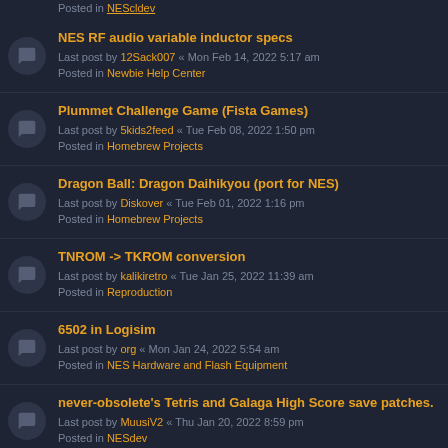Posted in NEScldev
NES RF audio variable inductor specs
Last post by 12Sack007 « Mon Feb 14, 2022 5:17 am
Posted in Newbie Help Center
Plummet Challenge Game (Fista Games)
Last post by 5kids2feed « Tue Feb 08, 2022 1:50 pm
Posted in Homebrew Projects
Dragon Ball: Dragon Daihikyou (port for NES)
Last post by Diskover « Tue Feb 01, 2022 1:16 pm
Posted in Homebrew Projects
TNROM -> TKROM conversion
Last post by kalikiretro « Tue Jan 25, 2022 11:39 am
Posted in Reproduction
6502 in Logisim
Last post by org « Mon Jan 24, 2022 5:54 am
Posted in NES Hardware and Flash Equipment
never-obsolete's Tetris and Galaga High Score save patches.
Last post by MuusiV2 « Thu Jan 20, 2022 8:59 pm
Posted in NESdev
MMC1A fixed bank behavior difference
Last post by tepples « Thu Jan 06, 2022 8:22 am
Posted in NESdev